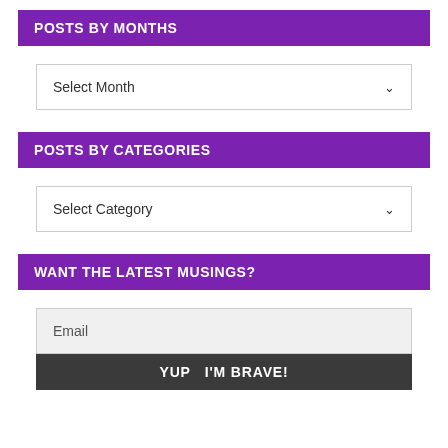POSTS BY MONTHS
[Figure (screenshot): Dropdown select box with 'Select Month' placeholder and chevron arrow]
POSTS BY CATEGORIES
[Figure (screenshot): Dropdown select box with 'Select Category' placeholder and chevron arrow]
WANT THE LATEST MUSINGS?
[Figure (screenshot): Email input field with 'Email' placeholder and a dark submit bar with 'YUP I'M BRAVE!']